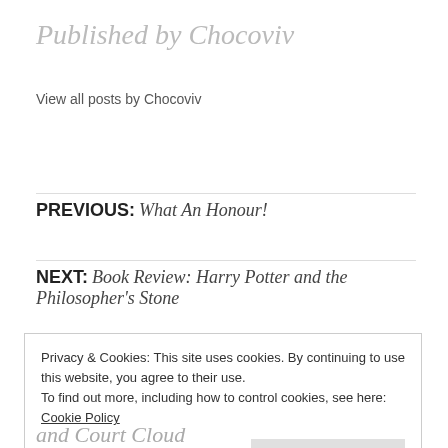Published by Chocoviv
View all posts by Chocoviv
PREVIOUS: What An Honour!
NEXT: Book Review: Harry Potter and the Philosopher's Stone
Privacy & Cookies: This site uses cookies. By continuing to use this website, you agree to their use.
To find out more, including how to control cookies, see here: Cookie Policy
Close and accept
and Court Cloud